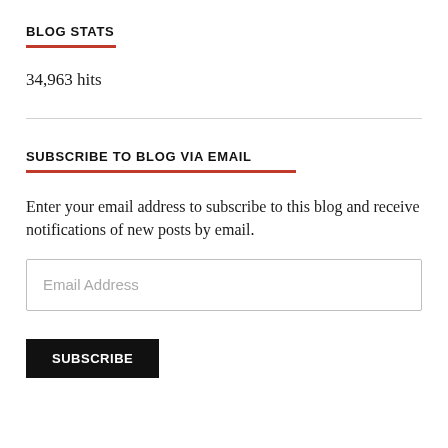BLOG STATS
34,963 hits
SUBSCRIBE TO BLOG VIA EMAIL
Enter your email address to subscribe to this blog and receive notifications of new posts by email.
Email Address